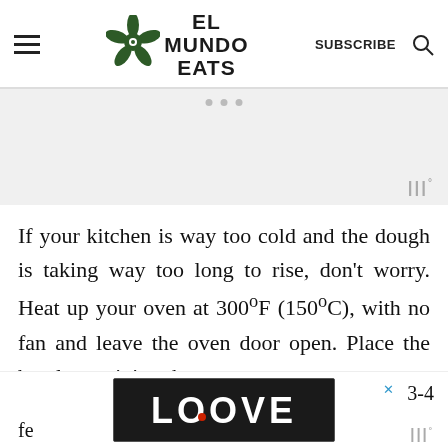EL MUNDO EATS — SUBSCRIBE
[Figure (other): Advertisement banner area with light gray background and weather widget icon in bottom right]
If your kitchen is way too cold and the dough is taking way too long to rise, don't worry. Heat up your oven at 300ºF (150ºC), with no fan and leave the oven door open. Place the bowl containing the do... like 3-4 fe...
[Figure (other): LOOVE advertisement overlay at bottom of page with decorative text art and a close X button]